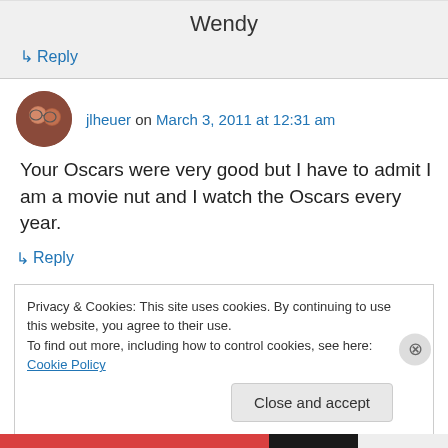Wendy
↳ Reply
jlheuer on March 3, 2011 at 12:31 am
Your Oscars were very good but I have to admit I am a movie nut and I watch the Oscars every year.
↳ Reply
Privacy & Cookies: This site uses cookies. By continuing to use this website, you agree to their use. To find out more, including how to control cookies, see here: Cookie Policy
Close and accept